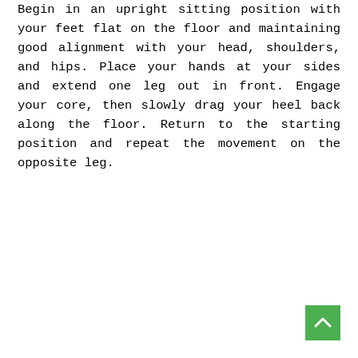Begin in an upright sitting position with your feet flat on the floor and maintaining good alignment with your head, shoulders, and hips. Place your hands at your sides and extend one leg out in front. Engage your core, then slowly drag your heel back along the floor. Return to the starting position and repeat the movement on the opposite leg.
[Figure (other): Green scroll-to-top button with an upward-pointing chevron/arrow icon in the bottom-right corner of the page.]